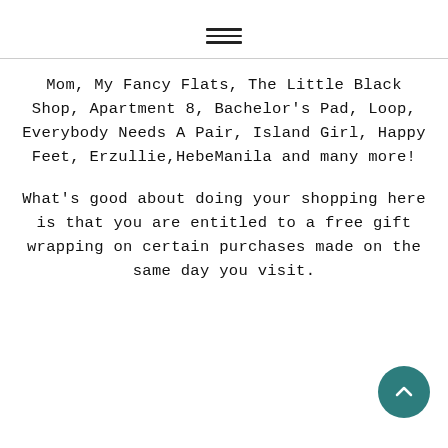≡
Mom, My Fancy Flats, The Little Black Shop, Apartment 8, Bachelor's Pad, Loop, Everybody Needs A Pair, Island Girl, Happy Feet, Erzullie,HebeManila and many more!
What's good about doing your shopping here is that you are entitled to a free gift wrapping on certain purchases made on the same day you visit.